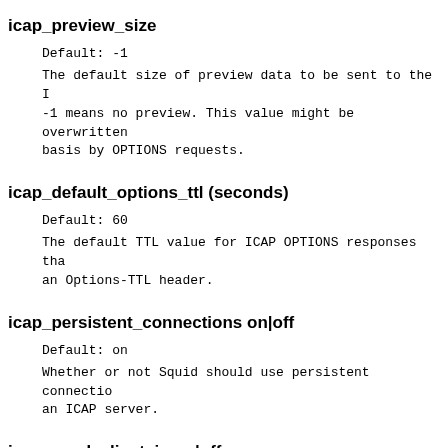icap_preview_size
Default: -1
The default size of preview data to be sent to the ICAP server. -1 means no preview. This value might be overwritten on a per-server basis by OPTIONS requests.
icap_default_options_ttl (seconds)
Default: 60
The default TTL value for ICAP OPTIONS responses that don't have an Options-TTL header.
icap_persistent_connections on|off
Default: on
Whether or not Squid should use persistent connections to an ICAP server.
icap_send_client_ip on|off
Default: off